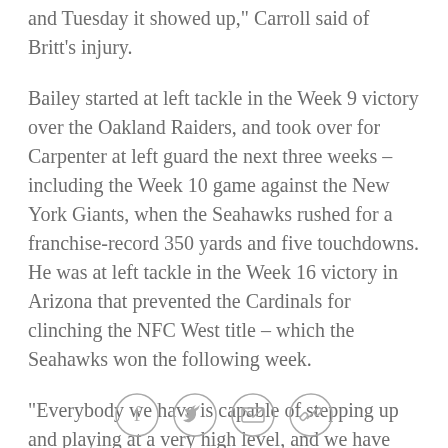and Tuesday it showed up," Carroll said of Britt's injury.
Bailey started at left tackle in the Week 9 victory over the Oakland Raiders, and took over for Carpenter at left guard the next three weeks – including the Week 10 game against the New York Giants, when the Seahawks rushed for a franchise-record 350 yards and five touchdowns. He was at left tackle in the Week 16 victory in Arizona that prevented the Cardinals for clinching the NFC West title – which the Seahawks won the following week.
"Everybody we have is capable of stepping up and playing at a very high level, and we have confidence in everybody," right guard J.R. Sweezy said. "Alvin can play every position (guard or tackle on either side), so we're confident no matter who's out there. We've got a
[Figure (infographic): Social sharing icons: Facebook, Twitter, Email, Link/chain]